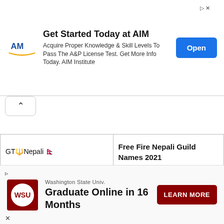[Figure (other): Top advertisement banner: 'Get Started Today at AIM' with AIM Institute logo, text 'Acquire Proper Knowledge & Skill Levels To Pass The A&P License Test. Get More Info Today. AIM Institute', and an Open button]
| GT🔱Nepali 🇳🇵 | Free Fire Nepali Guild Names 2021 |
| G|३↑ 🅺kaji | Free Fire Nepali Guild Names 2021 |
| 🅱🅱t≪sh🅱🅱🅱≫t❸❹❺❷❸❻ | Free Fire Nepali Guild Names 2021 |
| Hemant✓ 🇳🇵 | Free Fire Nepali Guild Names 2021 |
[Figure (other): Bottom advertisement banner: Washington State Univ. logo, 'Graduate Online in 16 Months', LEARN MORE button]